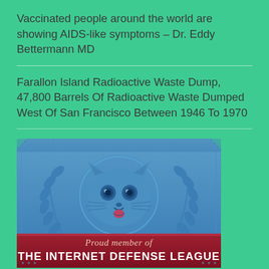Vaccinated people around the world are showing AIDS-like symptoms – Dr. Eddy Bettermann MD
Farallon Island Radioactive Waste Dump, 47,800 Barrels Of Radioactive Waste Dumped West Of San Francisco Between 1946 To 1970
[Figure (logo): Internet Defense League badge: blue embossed badge with a cartoon cat face surrounded by laurel leaves, red banner at bottom reading 'Proud member of THE INTERNET DEFENSE LEAGUE']